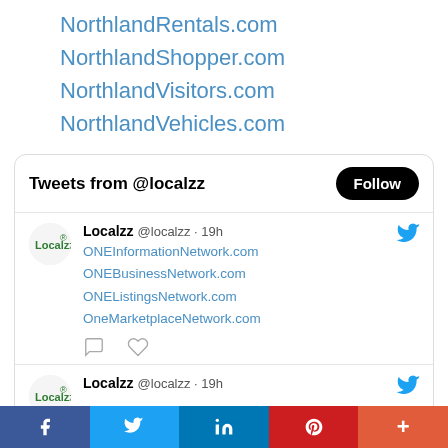NorthlandRentals.com
NorthlandShopper.com
NorthlandVisitors.com
NorthlandVehicles.com
[Figure (screenshot): Twitter/X embedded tweet widget showing 'Tweets from @localzz' with a Follow button, and two tweet items from Localzz @localzz · 19h listing ONE network URLs.]
f  [Twitter bird]  in  [Pinterest]  +